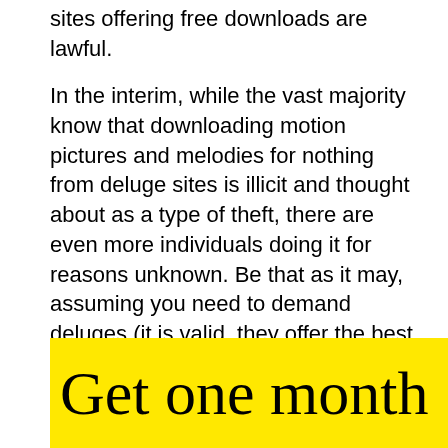sites offering free downloads are lawful.
In the interim, while the vast majority know that downloading motion pictures and melodies for nothing from deluge sites is illicit and thought about as a type of theft, there are even more individuals doing it for reasons unknown. Be that as it may, assuming you need to demand deluges (it is valid, they offer the best substance) then, at that point you can essentially utilize VPN for safe perusing. Utilizing VPN is one of the most suggested choices prior to utilizing any downpour site.
Get one month